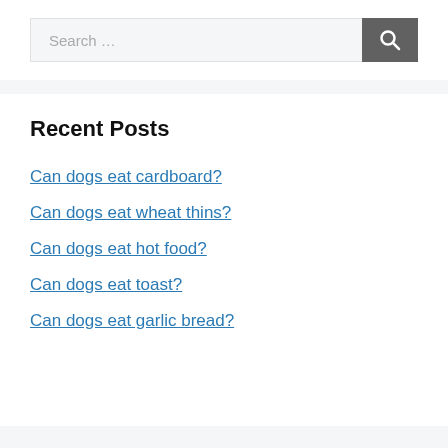[Figure (screenshot): Search bar with text input placeholder 'Search …' and a dark gray search button with magnifying glass icon]
Recent Posts
Can dogs eat cardboard?
Can dogs eat wheat thins?
Can dogs eat hot food?
Can dogs eat toast?
Can dogs eat garlic bread?